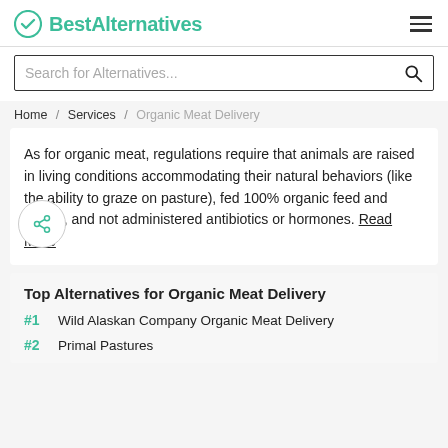BestAlternatives
Search for Alternatives...
Home / Services / Organic Meat Delivery
As for organic meat, regulations require that animals are raised in living conditions accommodating their natural behaviors (like the ability to graze on pasture), fed 100% organic feed and forage, and not administered antibiotics or hormones. Read More
Top Alternatives for Organic Meat Delivery
#1  Wild Alaskan Company Organic Meat Delivery
#2  Primal Pastures